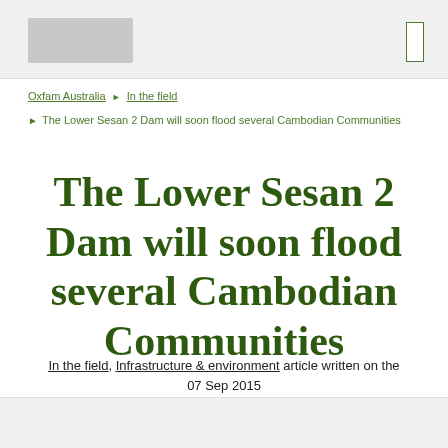Oxfam Australia header with logo
Oxfam Australia ▶ In the field
▶ The Lower Sesan 2 Dam will soon flood several Cambodian Communities
The Lower Sesan 2 Dam will soon flood several Cambodian Communities
In the field, Infrastructure & environment article written on the 07 Sep 2015